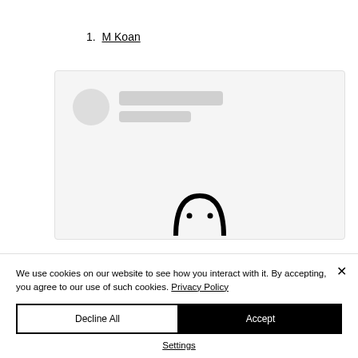1. M Koan
[Figure (screenshot): A browser/app screenshot placeholder showing a skeleton loading UI with a circular avatar placeholder and two rectangular skeleton lines, plus a ghost/smiley icon partially visible at the bottom]
We use cookies on our website to see how you interact with it. By accepting, you agree to our use of such cookies. Privacy Policy
Decline All
Accept
Settings